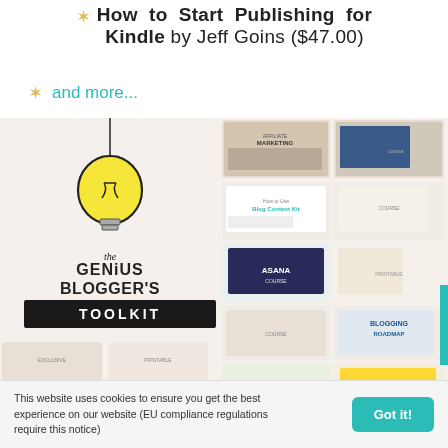How to Start Publishing for Kindle by Jeff Goins ($47.00)
and more...
[Figure (illustration): The Genius Blogger's Toolkit promotional image showing a lightbulb illustration with handwritten-style text 'the GENIUS BLOGGER'S TOOLKIT' and a collage of various digital products, courses, printables and resources included in the toolkit bundle]
This website uses cookies to ensure you get the best experience on our website (EU compliance regulations require this notice)